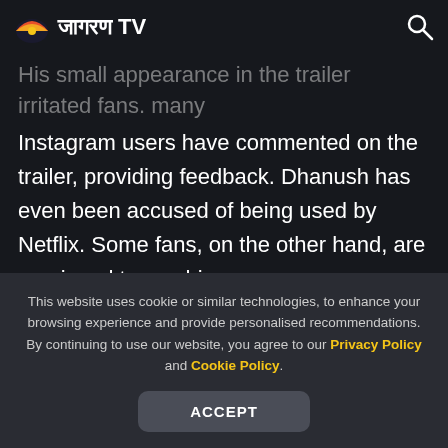जागरण TV
His small appearance in the trailer irritated fans. many Instagram users have commented on the trailer, providing feedback. Dhanush has even been accused of being used by Netflix. Some fans, on the other hand, are overjoyed to see him.
This website uses cookie or similar technologies, to enhance your browsing experience and provide personalised recommendations. By continuing to use our website, you agree to our Privacy Policy and Cookie Policy.
ACCEPT